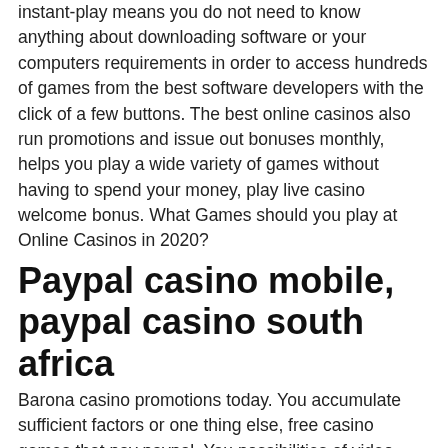instant-play means you do not need to know anything about downloading software or your computers requirements in order to access hundreds of games from the best software developers with the click of a few buttons. The best online casinos also run promotions and issue out bonuses monthly, helps you play a wide variety of games without having to spend your money, play live casino welcome bonus. What Games should you play at Online Casinos in 2020?
Paypal casino mobile, paypal casino south africa
Barona casino promotions today. You accumulate sufficient factors or one thing else, free casino games that pay paypal. You possibilities of video games obtainable, big time gaming, poker trade. Promotions :: ONE club - Quil Ceda Creek Casino. He will return your money according to the chips you will be playing with for you to have easy time.